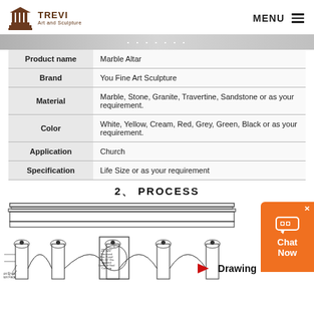TREVI Art and Sculpture — MENU
| Property | Value |
| --- | --- |
| Product name | Marble Altar |
| Brand | You Fine Art Sculpture |
| Material | Marble, Stone, Granite, Travertine, Sandstone or as your requirement. |
| Color | White, Yellow, Cream, Red, Grey, Green, Black or as your requirement. |
| Application | Church |
| Specification | Life Size or as your requirement |
2、PROCESS
[Figure (engineering-diagram): Architectural drawing of a marble altar with Corinthian columns, arched openings, and a central panel labeled 20x20 Recessed Flat Panel with 16 Dia Applied Lamb of God Carving. Annotations on ends and face are shown.]
Drawing